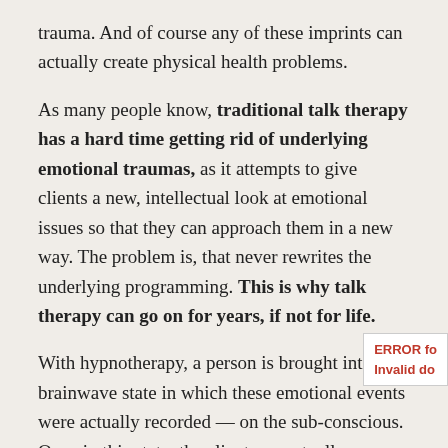trauma. And of course any of these imprints can actually create physical health problems.
As many people know, traditional talk therapy has a hard time getting rid of underlying emotional traumas, as it attempts to give clients a new, intellectual look at emotional issues so that they can approach them in a new way. The problem is, that never rewrites the underlying programming. This is why talk therapy can go on for years, if not for life.
With hypnotherapy, a person is brought into the brainwave state in which these emotional events were actually recorded — on the sub-conscious. Once in this state, the client can actually access and change the underlying programming.